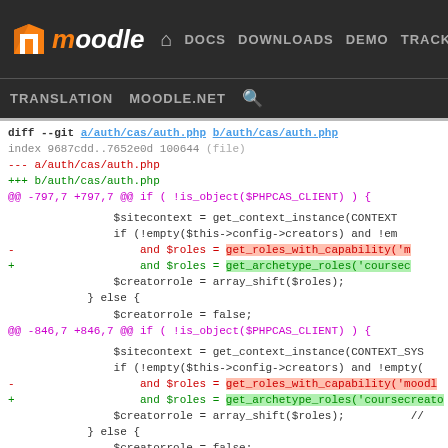moodle DOCS DOWNLOADS DEMO TRACKER DEV | TRANSLATION MOODLE.NET
diff --git a/auth/cas/auth.php b/auth/cas/auth.php
index 9687cdd..7652e0d 100644 (file)
--- a/auth/cas/auth.php
+++ b/auth/cas/auth.php
@@ -797,7 +797,7 @@ if ( !is_object($PHPCAS_CLIENT) ) {

                $sitecontext = get_context_instance(CONTEXT
                if (!empty($this->config->creators) and !em
-               and $roles = get_roles_with_capability('m
+               and $roles = get_archetype_roles('coursec
                $creatorrole = array_shift($roles);
            } else {
                $creatorrole = false;
@@ -846,7 +846,7 @@ if ( !is_object($PHPCAS_CLIENT) ) {

                $sitecontext = get_context_instance(CONTEXT_SYS
                if (!empty($this->config->creators) and !empty(
-               and $roles = get_roles_with_capability('moodl
+               and $roles = get_archetype_roles('coursecreato
                $creatorrole = array_shift($roles);          //
            } else {
                $creatorrole = false;
@@ -1118,7 +1118,7 @@ if (!empty($this->config->attrcreators
            if ($iscreator === null) {